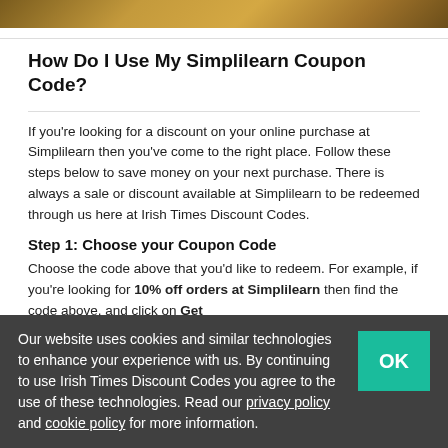[Figure (photo): Top image strip showing a partial photo with warm golden/brown tones]
How Do I Use My Simplilearn Coupon Code?
If you're looking for a discount on your online purchase at Simplilearn then you've come to the right place. Follow these steps below to save money on your next purchase. There is always a sale or discount available at Simplilearn to be redeemed through us here at Irish Times Discount Codes.
Step 1: Choose your Coupon Code
Choose the code above that you'd like to redeem. For example, if you're looking for 10% off orders at Simplilearn then find the code above, and click on Get
Our website uses cookies and similar technologies to enhance your experience with us. By continuing to use Irish Times Discount Codes you agree to the use of these technologies. Read our privacy policy and cookie policy for more information.